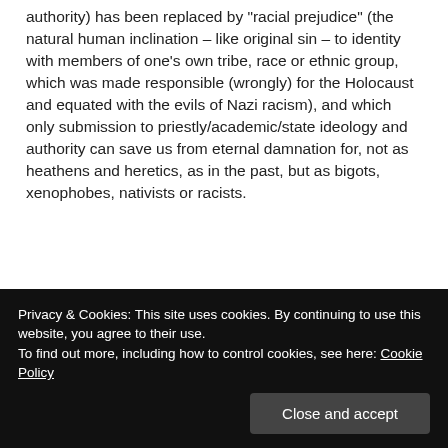authority) has been replaced by "racial prejudice" (the natural human inclination – like original sin – to identity with members of one's own tribe, race or ethnic group, which was made responsible (wrongly) for the Holocaust and equated with the evils of Nazi racism), and which only submission to priestly/academic/state ideology and authority can save us from eternal damnation for, not as heathens and heretics, as in the past, but as bigots, xenophobes, nativists or racists.
★ Loading...
Privacy & Cookies: This site uses cookies. By continuing to use this website, you agree to their use. To find out more, including how to control cookies, see here: Cookie Policy
Close and accept